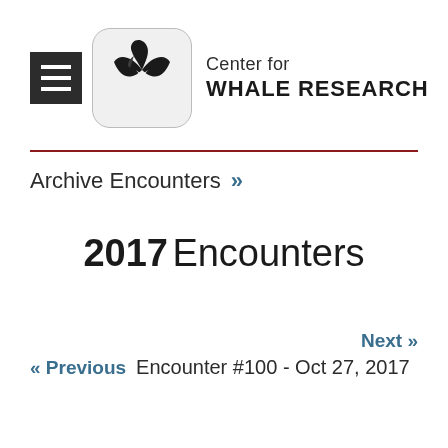[Figure (logo): Center for Whale Research logo: whale tail silhouette in a rounded square, with hamburger menu icon to the left, and organization name 'Center for WHALE RESEARCH' to the right]
Archive Encounters »
2017 Encounters
« Previous   Next »
Encounter #100 - Oct 27, 2017